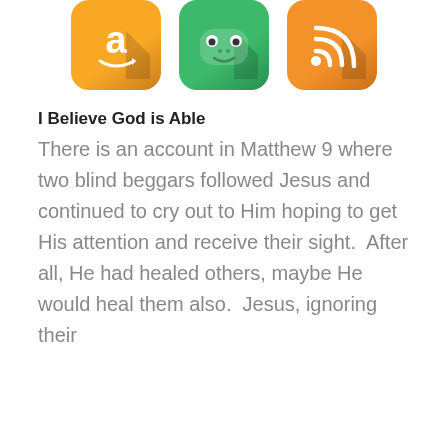[Figure (illustration): Three app icons in a row: Amazon (orange with white 'a' logo), Frog/Camo app (green with frog face), RSS feed (orange with white RSS signal icon)]
I Believe God is Able
There is an account in Matthew 9 where two blind beggars followed Jesus and continued to cry out to Him hoping to get His attention and receive their sight.  After all, He had healed others, maybe He would heal them also.  Jesus, ignoring their